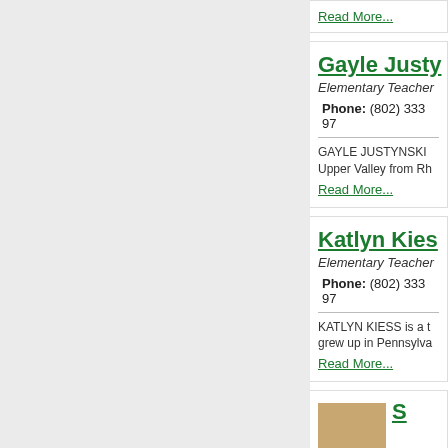Read More...
Gayle Justy
Elementary Teacher
Phone: (802) 333 97...
GAYLE JUSTYNSKI ... Upper Valley from Rh...
Read More...
Katlyn Kies
Elementary Teacher
Phone: (802) 333 97...
KATLYN KIESS is a t... grew up in Pennsylva...
Read More...
[Figure (photo): Staff photo thumbnail]